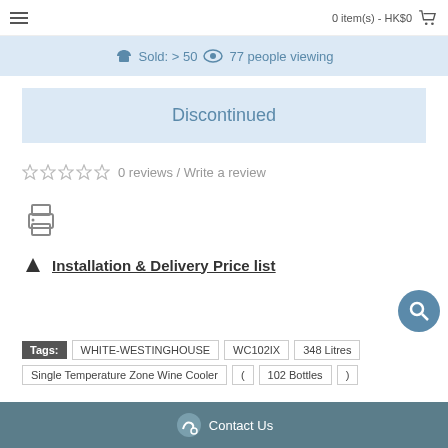0 item(s) - HK$0
Sold: > 50 | 77 people viewing
Discontinued
0 reviews / Write a review
Installation & Delivery Price list
Tags: WHITE-WESTINGHOUSE WC102IX 348 Litres Single Temperature Zone Wine Cooler ( 102 Bottles )
Contact Us